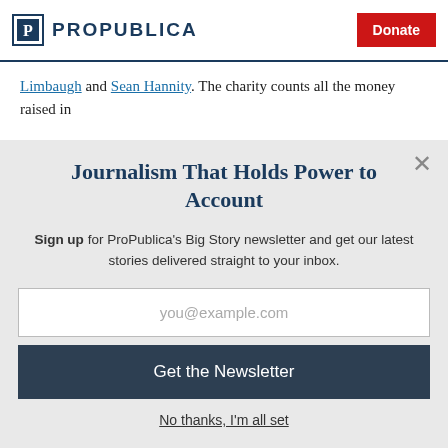ProPublica | Donate
Limbaugh and Sean Hannity. The charity counts all the money raised in
Journalism That Holds Power to Account
Sign up for ProPublica's Big Story newsletter and get our latest stories delivered straight to your inbox.
you@example.com
Get the Newsletter
No thanks, I'm all set
This site is protected by reCAPTCHA and the Google Privacy Policy and Terms of Service apply.